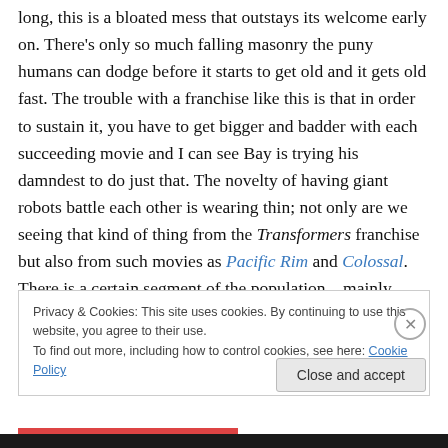long, this is a bloated mess that outstays its welcome early on. There's only so much falling masonry the puny humans can dodge before it starts to get old and it gets old fast. The trouble with a franchise like this is that in order to sustain it, you have to get bigger and badder with each succeeding movie and I can see Bay is trying his damndest to do just that. The novelty of having giant robots battle each other is wearing thin; not only are we seeing that kind of thing from the Transformers franchise but also from such movies as Pacific Rim and Colossal. There is a certain segment of the population – mainly
Privacy & Cookies: This site uses cookies. By continuing to use this website, you agree to their use.
To find out more, including how to control cookies, see here: Cookie Policy